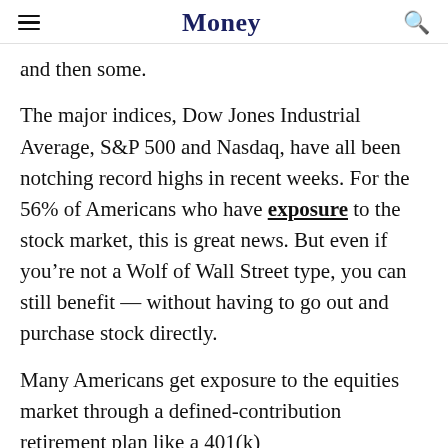Money
and then some.
The major indices, Dow Jones Industrial Average, S&P 500 and Nasdaq, have all been notching record highs in recent weeks. For the 56% of Americans who have exposure to the stock market, this is great news. But even if you're not a Wolf of Wall Street type, you can still benefit — without having to go out and purchase stock directly.
Many Americans get exposure to the equities market through a defined-contribution retirement plan like a 401(k)